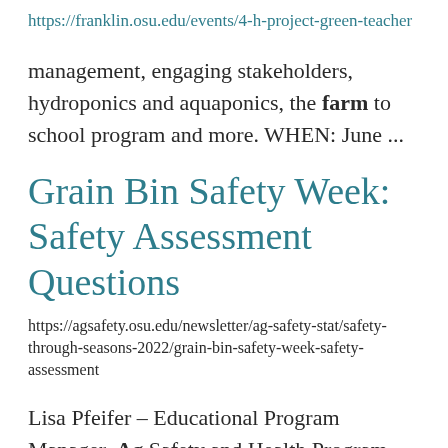https://franklin.osu.edu/events/4-h-project-green-teacher
management, engaging stakeholders, hydroponics and aquaponics, the farm to school program and more. WHEN: June ...
Grain Bin Safety Week: Safety Assessment Questions
https://agsafety.osu.edu/newsletter/ag-safety-stat/safety-through-seasons-2022/grain-bin-safety-week-safety-assessment
Lisa Pfeifer – Educational Program Manager, Ag Safety and Health Program Preparedness is a concept ... daily work and movement about the farm. What occurs to you? Do you recognize – no exit